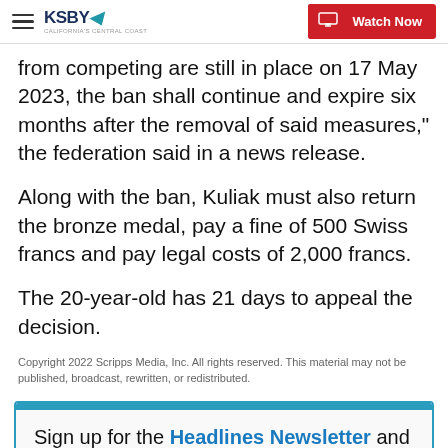KSBY — Watch Now
from competing are still in place on 17 May 2023, the ban shall continue and expire six months after the removal of said measures," the federation said in a news release.
Along with the ban, Kuliak must also return the bronze medal, pay a fine of 500 Swiss francs and pay legal costs of 2,000 francs.
The 20-year-old has 21 days to appeal the decision.
Copyright 2022 Scripps Media, Inc. All rights reserved. This material may not be published, broadcast, rewritten, or redistributed.
Sign up for the Headlines Newsletter and receive up to date information